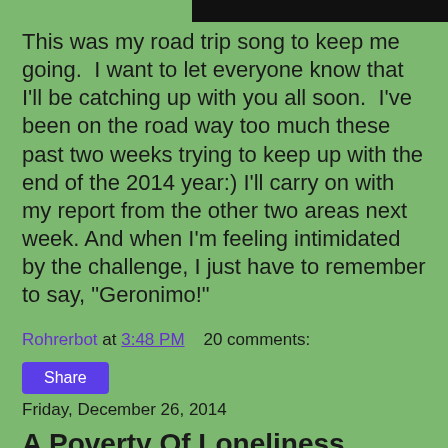[Figure (other): Black horizontal bar at top of page, partial image crop]
This was my road trip song to keep me going.  I want to let everyone know that I'll be catching up with you all soon.  I've been on the road way too much these past two weeks trying to keep up with the end of the 2014 year:) I'll carry on with my report from the other two areas next week. And when I'm feeling intimidated by the challenge, I just have to remember to say, "Geronimo!"
Rohrerbot at 3:48 PM    20 comments:
Share
Friday, December 26, 2014
A Poverty Of Loneliness